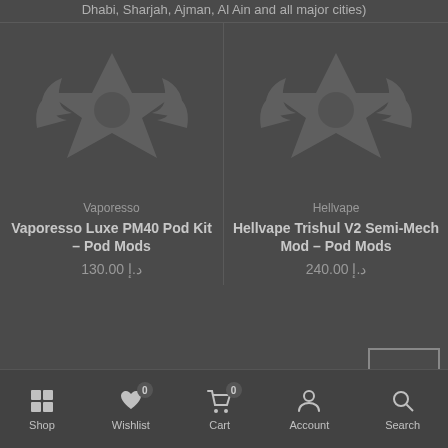Dhabi, Sharjah, Ajman, Al Ain and all major cities)
[Figure (illustration): Product placeholder image for Vaporesso Luxe PM40 Pod Kit - dark themed shield/star icon watermark]
Vaporesso
Vaporesso Luxe PM40 Pod Kit – Pod Mods
130.00 د.إ
[Figure (illustration): Product placeholder image for Hellvape Trishul V2 Semi-Mech Mod - dark themed shield/star icon watermark]
Hellvape
Hellvape Trishul V2 Semi-Mech Mod – Pod Mods
240.00 د.إ
Shop  Wishlist  Cart  Account  Search